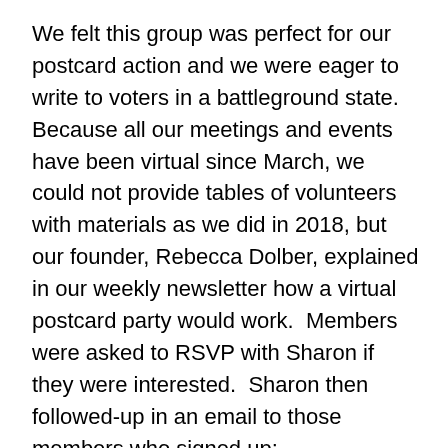We felt this group was perfect for our postcard action and we were eager to write to voters in a battleground state. Because all our meetings and events have been virtual since March, we could not provide tables of volunteers with materials as we did in 2018, but our founder, Rebecca Dolber, explained in our weekly newsletter how a virtual postcard party would work.  Members were asked to RSVP with Sharon if they were interested.  Sharon then followed-up in an email to those members who signed up:
Thank you for being the first group to volunteer this week to write Postcards To Voters.   (PTV)
I started writing with this awesome organization when it started in 2017. There are now over 75,000 volunteers in every state that have written close to 8 million postcards to voters.  (Now you're really excited to be part of this